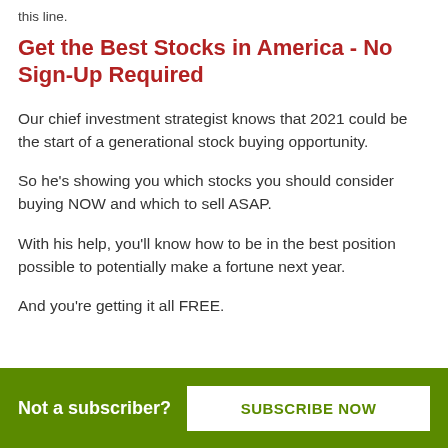this line.
Get the Best Stocks in America - No Sign-Up Required
Our chief investment strategist knows that 2021 could be the start of a generational stock buying opportunity.
So he's showing you which stocks you should consider buying NOW and which to sell ASAP.
With his help, you'll know how to be in the best position possible to potentially make a fortune next year.
And you're getting it all FREE.
Not a subscriber? SUBSCRIBE NOW